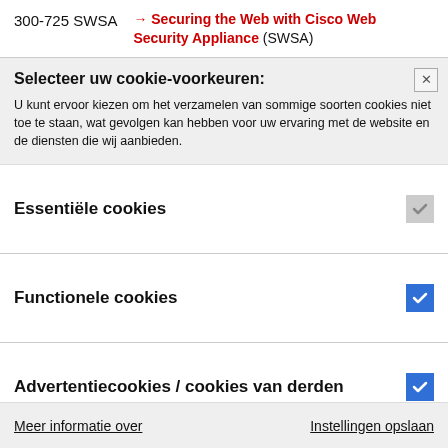300-725 SWSA → Securing the Web with Cisco Web Security Appliance (SWSA)
Selecteer uw cookie-voorkeuren:
U kunt ervoor kiezen om het verzamelen van sommige soorten cookies niet toe te staan, wat gevolgen kan hebben voor uw ervaring met de website en de diensten die wij aanbieden.
Essentiële cookies
Functionele cookies
Advertentiecookies / cookies van derden
Meer informatie over    Instellingen opslaan